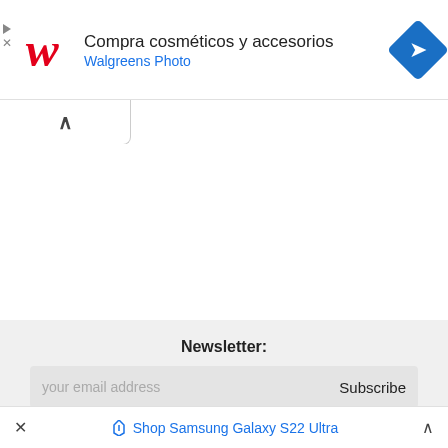[Figure (screenshot): Walgreens advertisement banner showing red cursive W logo, text 'Compra cosméticos y accesorios' and 'Walgreens Photo' in blue, with blue navigation diamond icon on right. Small play and X ad controls on left.]
[Figure (screenshot): Browser tab area with chevron up arrow (collapse/expand toggle) on white rounded tab.]
Newsletter:
your email address
Subscribe
Latest updates
Add to browser search
Twitter
Facebook
[Figure (screenshot): Bottom ad bar: X close button on left, Samsung tag icon and 'Shop Samsung Galaxy S22 Ultra' link in blue in center, chevron up on right.]